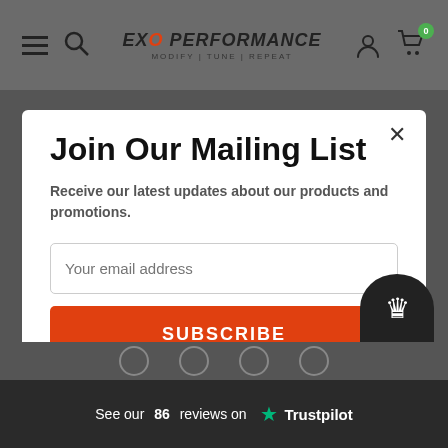EXO PERFORMANCE — MODIFY | TUNE | REPEAT
Join Our Mailing List
Receive our latest updates about our products and promotions.
Your email address
SUBSCRIBE
We promise to only send you good things
Don't show again!
See our 86 reviews on Trustpilot